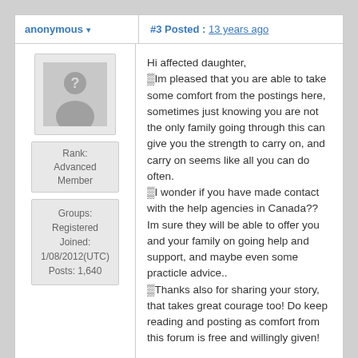anonymous ▾
#3 Posted : 13 years ago
[Figure (illustration): Anonymous user avatar — grey silhouette with question mark on grey background]
Rank: Advanced Member
Groups: Registered Joined: 1/08/2012(UTC) Posts: 1,640
Hi affected daughter, Im pleased that you are able to take some comfort from the postings here, sometimes just knowing you are not the only family going through this can give you the strength to carry on, and carry on seems like all you can do often. I wonder if you have made contact with the help agencies in Canada?? Im sure they will be able to offer you and your family on going help and support, and maybe even some practicle advice.. Thanks also for sharing your story, that takes great courage too! Do keep reading and posting as comfort from this forum is free and willingly given!